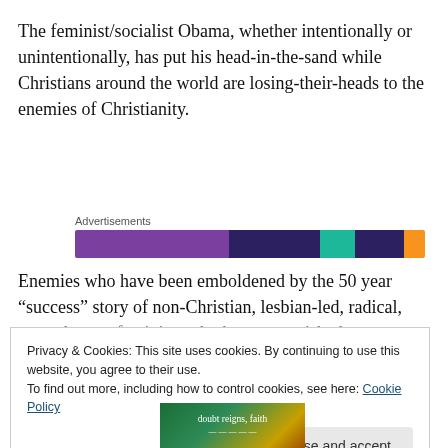The feminist/socialist Obama, whether intentionally or unintentionally, has put his head-in-the-sand while Christians around the world are losing-their-heads to the enemies of Christianity.
[Figure (infographic): Advertisement banner with label 'Advertisements' above a horizontal color bar with segments in purple, dark blue, teal/green, dark blue, and orange.]
Enemies who have been emboldened by the 50 year “success” story of non-Christian, lesbian-led, radical, second-wave feminists who have vanquished Christianity
Privacy & Cookies: This site uses cookies. By continuing to use this website, you agree to their use.
To find out more, including how to control cookies, see here: Cookie Policy
Close and accept
[Figure (photo): Partial image at the bottom showing text 'doubt reigns, faith' with what appears to be a book or publication cover.]